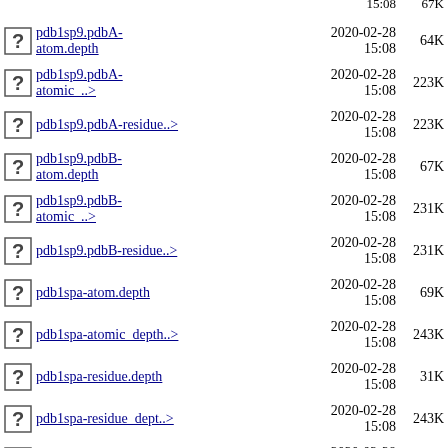pdb1sp9.pdbA-atom.depth 2020-02-28 15:08 64K
pdb1sp9.pdbA-atomic_..> 2020-02-28 15:08 223K
pdb1sp9.pdbA-residue..> 2020-02-28 15:08 223K
pdb1sp9.pdbB-atom.depth 2020-02-28 15:08 67K
pdb1sp9.pdbB-atomic_..> 2020-02-28 15:08 231K
pdb1sp9.pdbB-residue..> 2020-02-28 15:08 231K
pdb1spa-atom.depth 2020-02-28 15:08 69K
pdb1spa-atomic_depth..> 2020-02-28 15:08 243K
pdb1spa-residue.depth 2020-02-28 15:08 31K
pdb1spa-residue_dept..> 2020-02-28 15:08 243K
pdb1spa.pdb-complex 2020-02-28 15:08 237K